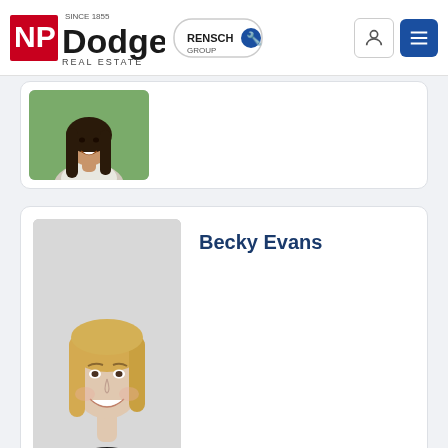NP Dodge Real Estate – Rensch Group
[Figure (photo): Partial agent profile card showing headshot of a woman with long dark hair outdoors]
[Figure (photo): Becky Evans – professional headshot of a blond woman in a black blazer]
Becky Evans